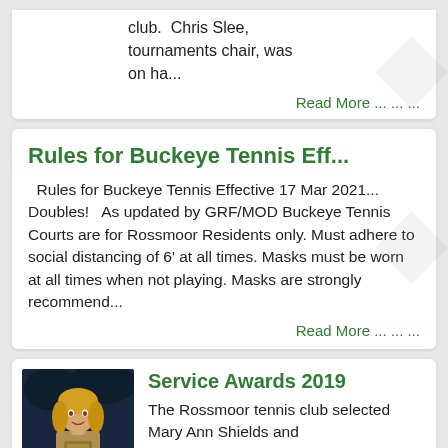club.  Chris Slee, tournaments chair, was on ha...
Read More … … …
Rules for Buckeye Tennis Eff...
Rules for Buckeye Tennis Effective 17 Mar 2021... Doubles!   As updated by GRF/MOD Buckeye Tennis Courts are for Rossmoor Residents only. Must adhere to social distancing of 6' at all times. Masks must be worn at all times when not playing. Masks are strongly recommend...
Read More … … …
[Figure (photo): Photo of a woman with blonde hair at a nighttime outdoor event]
Service Awards 2019
The Rossmoor tennis club selected Mary Ann Shields and